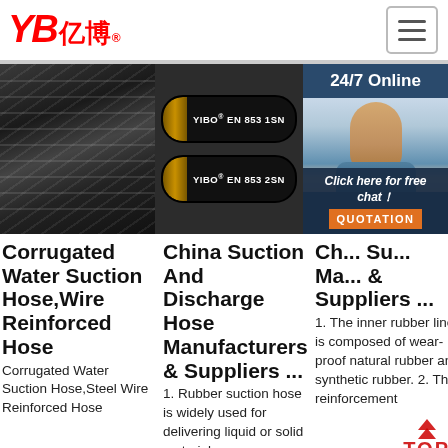[Figure (logo): YB 亿博 company logo in red with registered trademark symbol]
[Figure (other): Hamburger menu icon button]
[Figure (photo): Close-up photo of corrugated steel wire reinforced rubber hose]
Corrugated Water Suction Hose,Wire Reinforced Hose
Corrugated Water Suction Hose,Steel Wire Reinforced Hose
[Figure (photo): Two YIBO EN 853 1SN and EN 853 2SN hydraulic hoses shown side by side]
China Suction And Discharge Hose Manufacturers & Suppliers ...
1. Rubber suction hose is widely used for delivering liquid or solid materials
[Figure (screenshot): 24/7 Online chat widget with female customer service agent and QUOTATION button]
Ch... Su... Ma... & Suppliers ...
1. The inner rubber liner is composed of wear-proof natural rubber and synthetic rubber. 2. The reinforcement